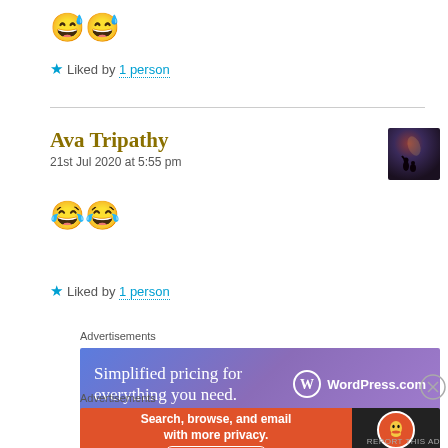😅😅
★ Liked by 1 person
Ava Tripathy
21st Jul 2020 at 5:55 pm
[Figure (photo): Avatar photo of commenter Ava Tripathy — dark silhouette against a reddish-purple bokeh background]
😂😂
★ Liked by 1 person
Advertisements
[Figure (screenshot): WordPress.com advertisement banner: 'Simplified pricing for everything you need.' with WordPress.com logo on gradient blue-purple background]
Advertisements
[Figure (screenshot): DuckDuckGo advertisement banner: 'Search, browse, and email with more privacy. All in One Free App' with DuckDuckGo logo on orange and dark background]